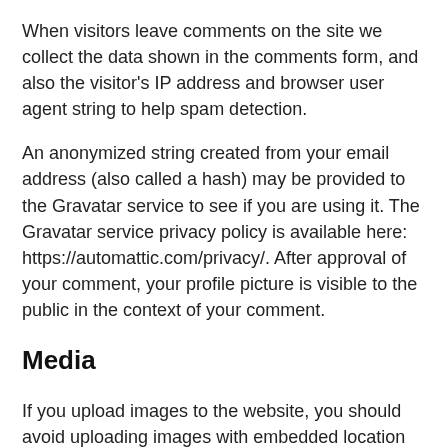When visitors leave comments on the site we collect the data shown in the comments form, and also the visitor's IP address and browser user agent string to help spam detection.
An anonymized string created from your email address (also called a hash) may be provided to the Gravatar service to see if you are using it. The Gravatar service privacy policy is available here: https://automattic.com/privacy/. After approval of your comment, your profile picture is visible to the public in the context of your comment.
Media
If you upload images to the website, you should avoid uploading images with embedded location data (EXIF GPS) included. Visitors to the website can download and extract any location data from images on the website.